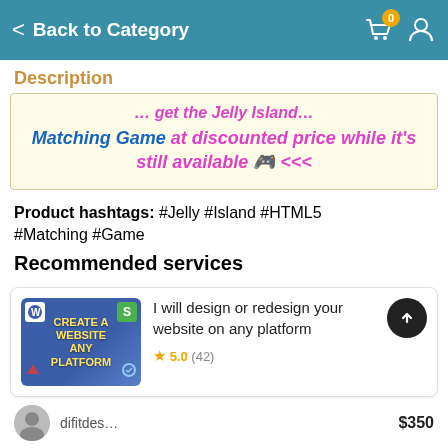Back to Category
Description
Matching Game at discounted price while it's still available 🎮 <<<
Product hashtags: #Jelly #Island #HTML5 #Matching #Game
Recommended services
[Figure (screenshot): Website design service thumbnail showing 'Create a Website Any Platform' with WordPress and Elementor logos]
I will design or redesign your website on any platform
5.0 (42)